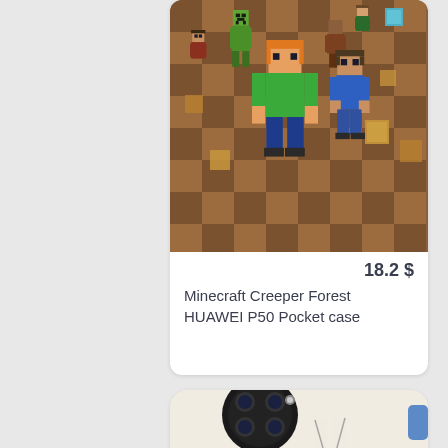[Figure (photo): Product listing card for a Minecraft Creeper Forest HUAWEI P50 Pocket phone case. The case has a brown Minecraft dirt-block background pattern with multiple Minecraft character figures (Steve, Alex, Creeper, etc.) printed on it. Shows white card background with product image at top.]
18.2 $
Minecraft Creeper Forest HUAWEI P50 Pocket case
[Figure (photo): Partial view of a second product listing card showing a phone case with a cream/beige background. The phone case shows a large circular black camera module cutout and what appears to be a minimalist illustration design (possibly a character with antlers/feathers). A blue cart button tab is visible on the right edge.]